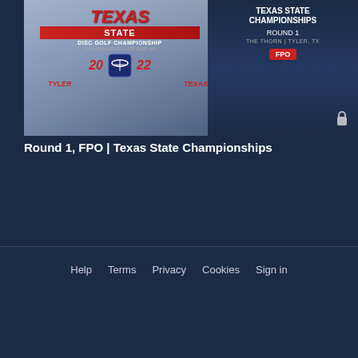[Figure (screenshot): Thumbnail for a video titled 'Round 1, FPO | Texas State Championships'. Left side shows the Texas State Disc Golf Championship 2022 event logo (red, white, blue) sponsored by Latitude 64, located in Tyler, Texas. Right side shows white text overlay reading 'TEXAS STATE CHAMPIONSHIPS / ROUND 1 / THE THORN | TYLER, TX' with a red FPO badge and a lock icon.]
Round 1, FPO | Texas State Championships
Help   Terms   Privacy   Cookies   Sign in